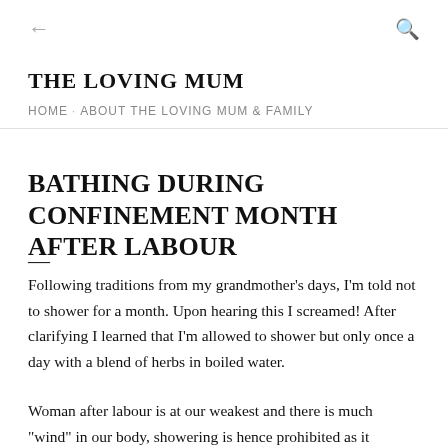THE LOVING MUM
HOME · ABOUT THE LOVING MUM & FAMILY
BATHING DURING CONFINEMENT MONTH AFTER LABOUR
Following traditions from my grandmother's days, I'm told not to shower for a month. Upon hearing this I screamed! After clarifying I learned that I'm allowed to shower but only once a day with a blend of herbs in boiled water.
Woman after labour is at our weakest and there is much "wind" in our body, showering is hence prohibited as it